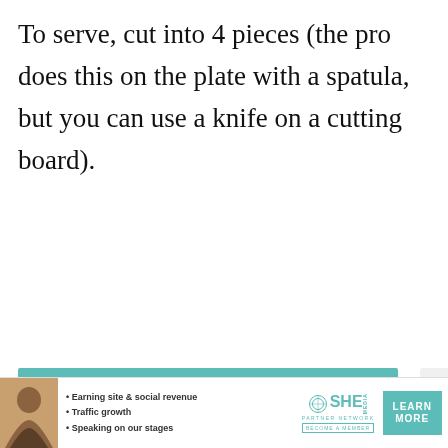To serve, cut into 4 pieces (the pro does this on the plate with a spatula, but you can use a knife on a cutting board).
[Figure (infographic): SHE Media Partner Network advertisement with teal background. Shows SHE Media logo, 'BECOME A MEMBER' button, dollar sign icon with 'Earning site & social revenue' text, and a 'LEARN MORE' button at the bottom.]
[Figure (infographic): Bottom banner ad for SHE Media Partner Network featuring a person photo, bullet points: Earning site & social revenue, Traffic growth, Speaking on our stages. SHE Media logo and LEARN MORE button on the right.]